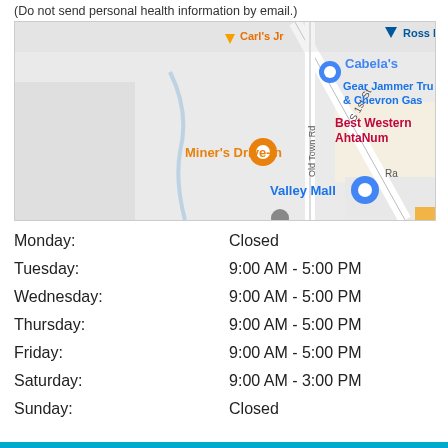(Do not send personal health information by email.)
[Figure (map): Google Maps screenshot showing area with Cabela's, Gear Jammer Truck & Chevron Gas, Best Western Ahtanum, Miner's Drive-In, Valley Mall, S 1st St, Old Town Rd]
| Day | Hours |
| --- | --- |
| Monday: | Closed |
| Tuesday: | 9:00 AM - 5:00 PM |
| Wednesday: | 9:00 AM - 5:00 PM |
| Thursday: | 9:00 AM - 5:00 PM |
| Friday: | 9:00 AM - 5:00 PM |
| Saturday: | 9:00 AM - 3:00 PM |
| Sunday: | Closed |